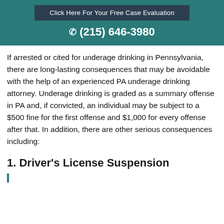Click Here For Your Free Case Evaluation
(215) 646-3980
If arrested or cited for underage drinking in Pennsylvania, there are long-lasting consequences that may be avoidable with the help of an experienced PA underage drinking attorney. Underage drinking is graded as a summary offense in PA and, if convicted, an individual may be subject to a $500 fine for the first offense and $1,000 for every offense after that. In addition, there are other serious consequences including:
1. Driver's License Suspension